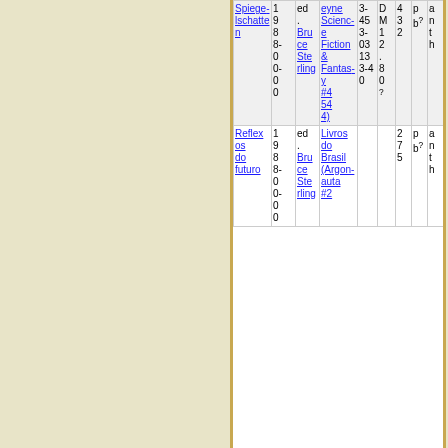| Title | Year | ed. | Genre | Price | DM | pcs | ant | Author | check |
| --- | --- | --- | --- | --- | --- | --- | --- | --- | --- |
| Spiegelschatten | 1988-0-00 | ed. Bruce Sterling | Science Fiction & Fantasy #454) | 3-45 3-03 13 3-40 | DM 12.80? | 4 32 | pb? | anth | Hannah Shapero | ✓ |
| Reflexos do futuro | 1988-0-00 | ed. Bruce Sterling | Livros do Brasil (Argonauta #2 | 275 | pb? | anth | A. Pedro |  |